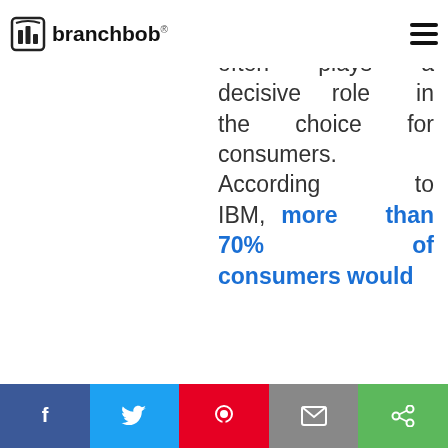branchbob®
Sustainability
often plays a decisive role in the choice for consumers. According to IBM, more than 70% of consumers would
[Blurred/redacted body text in blue section]
[Figure (other): Two call-to-action buttons: an outline button and a solid/bordered blue button with blurred text labels]
[Figure (other): Social share bar with 5 icons: Facebook (dark blue), Twitter (light blue), Pinterest (red), Email (grey), Share (green)]